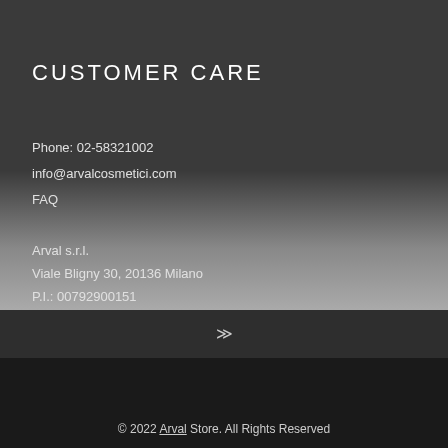CUSTOMER CARE
Phone: 02-58321002
info@arvalcosmetici.com
FAQ
Arval s.r.l.
Viale Bligny 30, 20136 Milano
P.I.: 00792900151
© 2022 Arval Store. All Rights Reserved